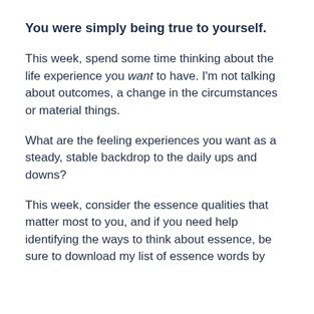You were simply being true to yourself.
This week, spend some time thinking about the life experience you want to have. I'm not talking about outcomes, a change in the circumstances or material things.
What are the feeling experiences you want as a steady, stable backdrop to the daily ups and downs?
This week, consider the essence qualities that matter most to you, and if you need help identifying the ways to think about essence, be sure to download my list of essence words by